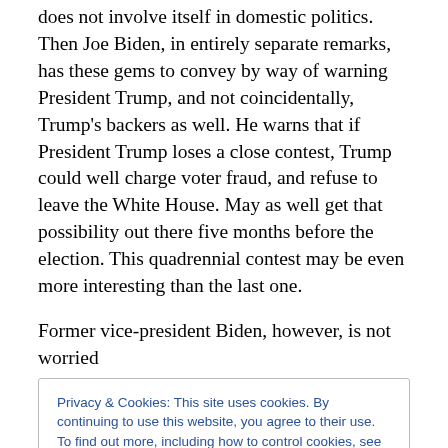does not involve itself in domestic politics. Then Joe Biden, in entirely separate remarks, has these gems to convey by way of warning President Trump, and not coincidentally, Trump's backers as well. He warns that if President Trump loses a close contest, Trump could well charge voter fraud, and refuse to leave the White House. May as well get that possibility out there five months before the election. This quadrennial contest may be even more interesting than the last one.
Former vice-president Biden, however, is not worried
Privacy & Cookies: This site uses cookies. By continuing to use this website, you agree to their use.
To find out more, including how to control cookies, see here: Cookie Policy
[Close and accept]
one we had in 2000, don't you think the military is the best